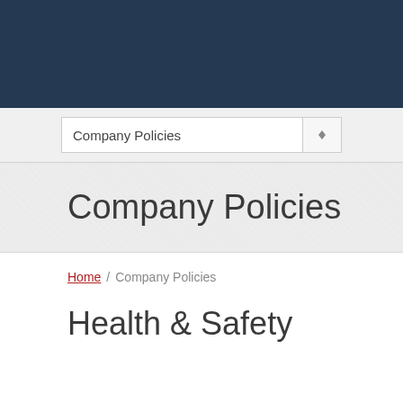Company Policies
Company Policies
Home / Company Policies
Health & Safety